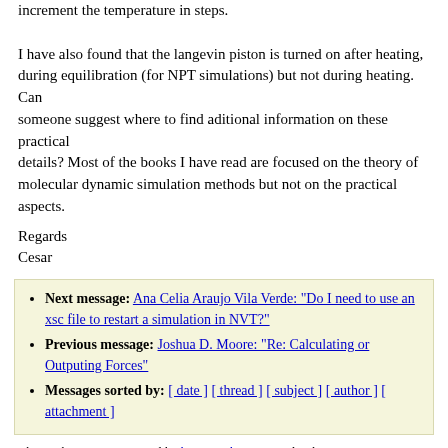increment the temperature in steps.

I have also found that the langevin piston is turned on after heating,
during equilibration (for NPT simulations) but not during heating. Can
someone suggest where to find aditional information on these practical
details? Most of the books I have read are focused on the theory of molecular dynamic simulation methods but not on the practical aspects.
Regards
Cesar
Next message: Ana Celia Araujo Vila Verde: "Do I need to use an xsc file to restart a simulation in NVT?"
Previous message: Joshua D. Moore: "Re: Calculating or Outputing Forces"
Messages sorted by: [ date ] [ thread ] [ subject ] [ author ] [ attachment ]
This archive was generated by hypermail 2.1.6 : Wed Feb 29 2012 - 15:42:16 CST